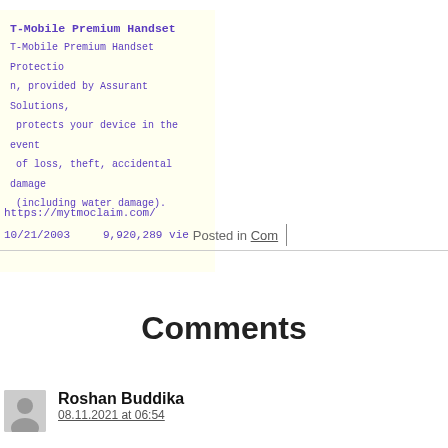T-Mobile Premium Handset
T-Mobile Premium Handset Protection, provided by Assurant Solutions, protects your device in the event of loss, theft, accidental damage (including water damage).
https://mytmoclaim.com/
10/21/2003    9,920,289 views   Posted in Com
Comments
Roshan Buddika
08.11.2021 at 06:54